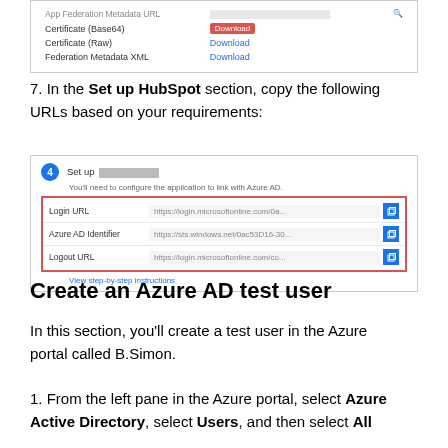[Figure (screenshot): Screenshot showing certificate download table with Base64, Raw, and Federation Metadata XML rows with Download links, Base64 highlighted with red border.]
7. In the Set up HubSpot section, copy the following URLs based on your requirements:
[Figure (screenshot): Screenshot of Azure AD Set up panel step 4 showing Login URL, Azure AD Identifier, and Logout URL fields with copy buttons, all highlighted with red border. View step-by-step instructions link below.]
Create an Azure AD test user
In this section, you'll create a test user in the Azure portal called B.Simon.
1. From the left pane in the Azure portal, select Azure Active Directory, select Users, and then select All